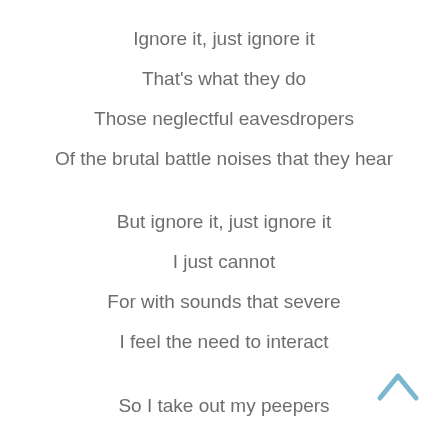Ignore it, just ignore it
That's what they do
Those neglectful eavesdropers
Of the brutal battle noises that they hear
But ignore it, just ignore it
I just cannot
For with sounds that severe
I feel the need to interact
So I take out my peepers